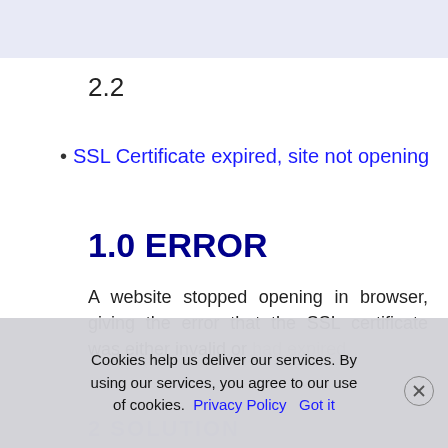[Figure (other): Top light blue-gray shaded bar region (partial page element from previous content)]
2.2
SSL Certificate expired, site not opening
1.0 ERROR
A website stopped opening in browser, giving the error that the SSL certificate was either invalid or had expired.
Cookies help us deliver our services. By using our services, you agree to our use of cookies. Privacy Policy   Got it